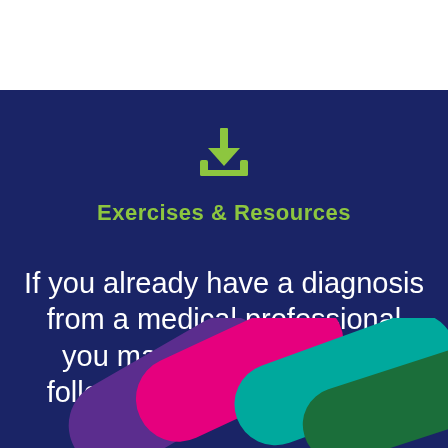[Figure (illustration): Download icon (arrow pointing down into a tray) in lime green color]
Exercises & Resources
If you already have a diagnosis from a medical professional you may find some of the following links more helpful:
[Figure (illustration): Decorative overlapping pill/capsule shapes in magenta/pink, purple, teal, and dark green colors at the bottom of the page]